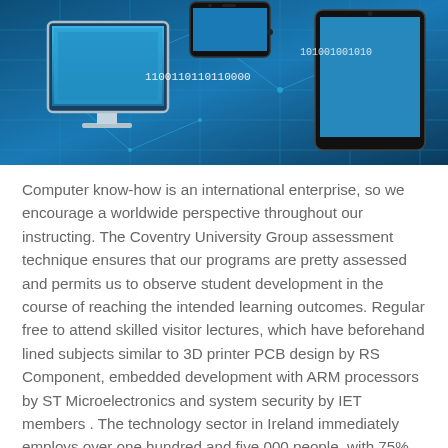[Figure (illustration): Blue technology banner with circuit board background, showing a desktop monitor, tablet device, and phone, overlaid with binary code text '1100110110110000' and '101001001010']
Computer know-how is an international enterprise, so we encourage a worldwide perspective throughout our instructing. The Coventry University Group assessment technique ensures that our programs are pretty assessed and permits us to observe student development in the course of reaching the intended learning outcomes. Regular free to attend skilled visitor lectures, which have beforehand lined subjects similar to 3D printer PCB design by RS Component, embedded development with ARM processors by ST Microelectronics and system security by IET members . The technology sector in Ireland immediately employs over one hundred and five,000 people, with 75% employed in multinational companies and the rest in the